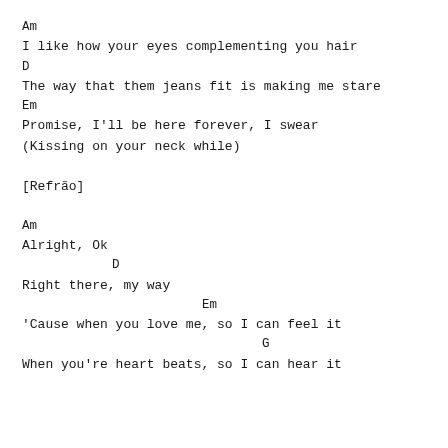Am
I like how your eyes complementing you hair
D
The way that them jeans fit is making me stare
Em
Promise, I'll be here forever, I swear
(Kissing on your neck while)
[Refrão]
Am
Alright, Ok
            D
Right there, my way
                        Em
'Cause when you love me, so I can feel it
                                G
When you're heart beats, so I can hear it